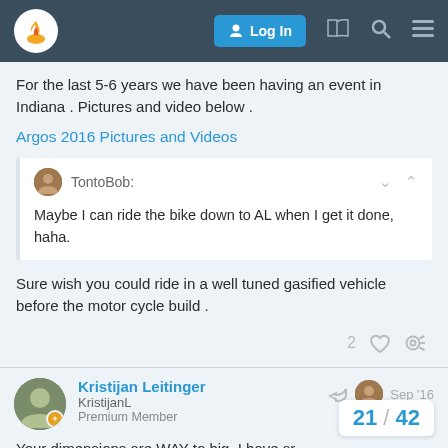Forum navigation bar with logo, Log In button, and icons
For the last 5-6 years we have been having an event in Indiana . Pictures and video below .
Argos 2016 Pictures and Videos
TontoBob:
Maybe I can ride the bike down to AL when I get it done, haha.
Sure wish you could ride in a well tuned gasified vehicle before the motor cycle build .
Kristijan Leitinger
KristijanL
Premium Member
Sep '16
Your dimensions are WAY to big. I have sr